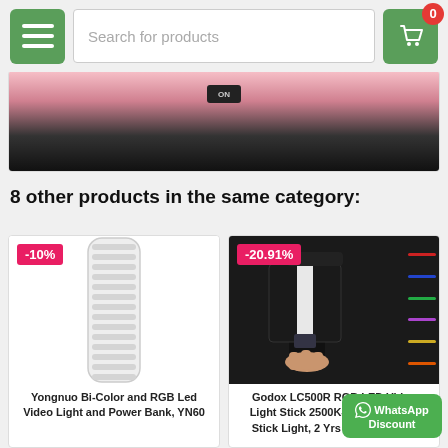[Figure (screenshot): E-commerce website header with hamburger menu button (green), search bar reading 'Search for products', and cart button (green) with badge showing 0]
[Figure (photo): Partial product hero image showing pinkish background and a device being held]
8 other products in the same category:
[Figure (photo): Yongnuo Bi-Color and RGB Led Video Light Stick product image showing white tubular LED light, with -10% discount badge]
Yongnuo Bi-Color and RGB Led Video Light and Power Bank, YN60
[Figure (photo): Godox LC500R RGB LED Video Light Stick product image showing handheld RGB light wand with color swatches, with -20.91% discount badge]
Godox LC500R RGB LED Video Light Stick 2500K-8500K, Godox Stick Light, 2 Yrs Warranty with